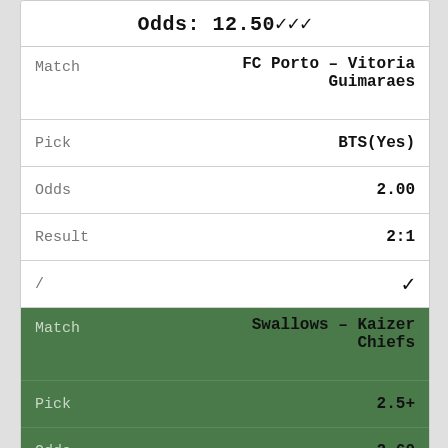Odds: 12.50✓✓✓
| Field | Value |
| --- | --- |
| Match | FC Porto – Vitoria Guimaraes |
| Pick | BTS(Yes) |
| Odds | 2.00 |
| Result | 2:1 |
| / | ✓ |
| Match | Swallows – Kaizer Chiefs |
| Pick | 2.5+ |
| Odds | 2.60 |
| Result | 1:3 |
| / | ✓ |